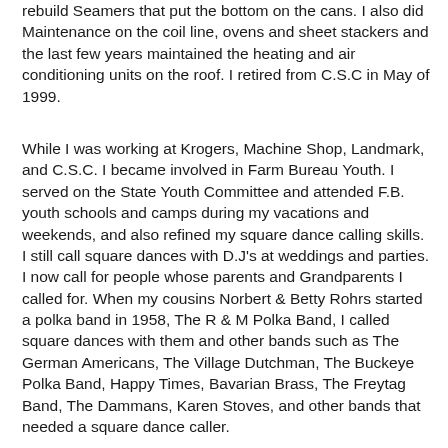rebuild Seamers that put the bottom on the cans. I also did Maintenance on the coil line, ovens and sheet stackers and the last few years maintained the heating and air conditioning units on the roof. I retired from C.S.C in May of 1999.
While I was working at Krogers, Machine Shop, Landmark, and C.S.C. I became involved in Farm Bureau Youth. I served on the State Youth Committee and attended F.B. youth schools and camps during my vacations and weekends, and also refined my square dance calling skills. I still call square dances with D.J's at weddings and parties. I now call for people whose parents and Grandparents I called for. When my cousins Norbert & Betty Rohrs started a polka band in 1958, The R & M Polka Band, I called square dances with them and other bands such as The German Americans, The Village Dutchman, The Buckeye Polka Band, Happy Times, Bavarian Brass, The Freytag Band, The Dammans, Karen Stoves, and other bands that needed a square dance caller.